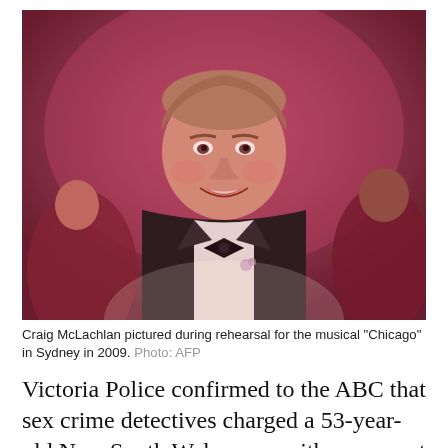[Figure (photo): Craig McLachlan in a black tuxedo with bow tie, smiling during rehearsal for the musical Chicago in Sydney, surrounded by performers in a red-lit scene.]
Craig McLachlan pictured during rehearsal for the musical "Chicago" in Sydney in 2009. Photo: AFP
Victoria Police confirmed to the ABC that sex crime detectives charged a 53-year-old New South Wales man with one count of common law assault, eight counts of indecent assault, and one count of attempted indecent assault.